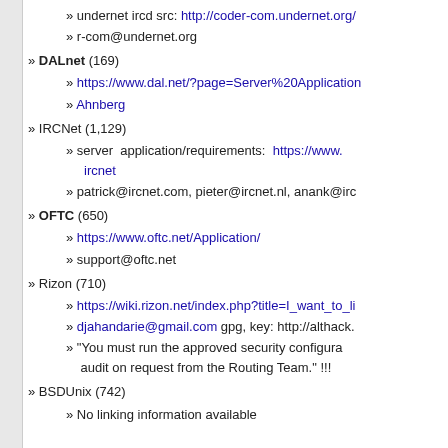» undernet ircd src: http://coder-com.undernet.org/
» r-com@undernet.org
» DALnet (169)
» https://www.dal.net/?page=Server%20Application
» Ahnberg
» IRCNet (1,129)
» server application/requirements: https://www.ircnet
» patrick@ircnet.com, pieter@ircnet.nl, anank@irc
» OFTC (650)
» https://www.oftc.net/Application/
» support@oftc.net
» Rizon (710)
» https://wiki.rizon.net/index.php?title=I_want_to_li
» djahandarie@gmail.com gpg, key: http://althack.
» "You must run the approved security configuration audit on request from the Routing Team." !!!
» BSDUnix (742)
» No linking information available